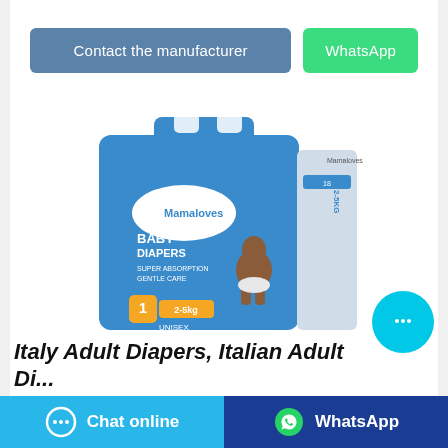[Figure (screenshot): Two buttons: 'Contact the manufacturer' (blue-gray) and 'WhatsApp' (green)]
[Figure (photo): Mamaloves Baby Diapers product package, blue box, size 1, 2-5kg, Unisex, with image of baby]
[Figure (other): Teal circular chat bubble button with ellipsis icon]
Italy Adult Diapers, Italian Adult Diapers Manufacturer
[Figure (other): Bottom bar with 'Chat online' (light blue) and 'WhatsApp' (dark blue) buttons]